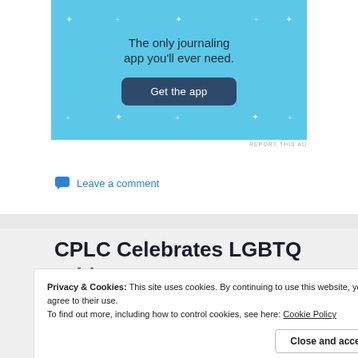[Figure (screenshot): Advertisement banner with light blue background showing 'The only journaling app you'll ever need.' text and a dark blue 'Get the app' button with sparkle decorations]
REPORT THIS AD
Leave a comment
CPLC Celebrates LGBTQ Pride Month
Privacy & Cookies: This site uses cookies. By continuing to use this website, you agree to their use.
To find out more, including how to control cookies, see here: Cookie Policy
Close and accept
REPORT THIS AD